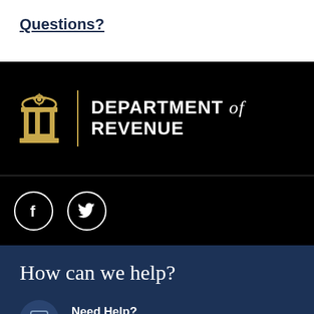Questions?
[Figure (logo): Department of Revenue logo with golden seal icon and text 'DEPARTMENT of REVENUE' on black background]
[Figure (illustration): Social media icons: Facebook and Twitter circle icons on black background]
How can we help?
Need Help?
Contact Us